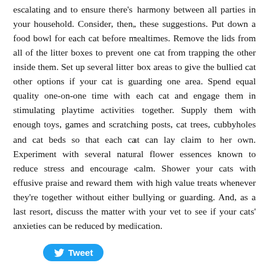escalating and to ensure there's harmony between all parties in your household. Consider, then, these suggestions. Put down a food bowl for each cat before mealtimes. Remove the lids from all of the litter boxes to prevent one cat from trapping the other inside them. Set up several litter box areas to give the bullied cat other options if your cat is guarding one area. Spend equal quality one-on-one time with each cat and engage them in stimulating playtime activities together. Supply them with enough toys, games and scratching posts, cat trees, cubbyholes and cat beds so that each cat can lay claim to her own. Experiment with several natural flower essences known to reduce stress and encourage calm. Shower your cats with effusive praise and reward them with high value treats whenever they're together without either bullying or guarding. And, as a last resort, discuss the matter with your vet to see if your cats' anxieties can be reduced by medication.
[Figure (other): Tweet button with Twitter bird icon]
0 Comments
Feline Friendly Road Trips